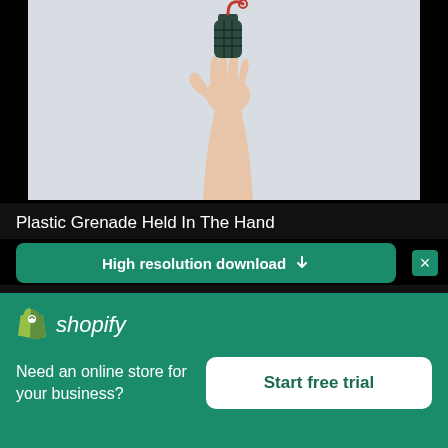[Figure (photo): A hand raised up holding a dark green plastic grenade with a red pin, against a light gray background.]
Plastic Grenade Held In The Hand
High resolution download ↓
[Figure (logo): Shopify logo — shopping bag icon and italic 'shopify' text in white on green background]
Need an online store for your business?
Start free trial